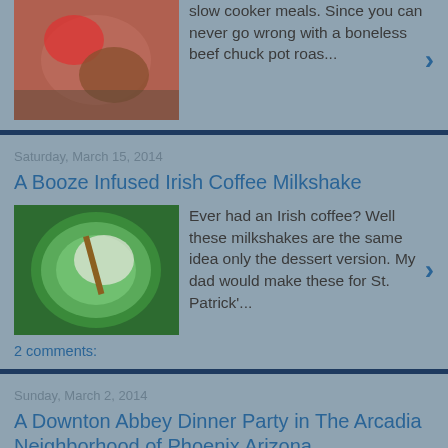slow cooker meals. Since you can never go wrong with a boneless beef chuck pot roas...
Saturday, March 15, 2014
A Booze Infused Irish Coffee Milkshake
Ever had an Irish coffee? Well these milkshakes are the same idea only the dessert version. My dad would make these for St. Patrick'...
2 comments:
Sunday, March 2, 2014
A Downton Abbey Dinner Party in The Arcadia Neighborhood of Phoenix Arizona
Downton Abbey, oh how I miss thee. It's only been a short time since season four wrapped up in the